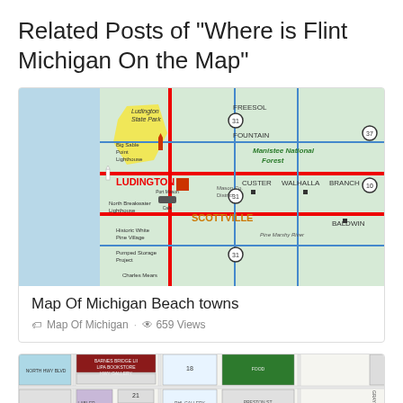Related Posts of "Where is Flint Michigan On the Map"
[Figure (map): Map of Michigan beach towns showing Ludington, Scottville, Custer, Walhalla, Branch, Baldwin, Fountain, and surrounding areas including Manistee National Forest and Ludington State Park. Features roads, highways, and local landmarks.]
Map Of Michigan Beach towns
Map Of Michigan · 659 Views
[Figure (map): Partial view of a street/city map of Michigan, showing building layouts and street names.]